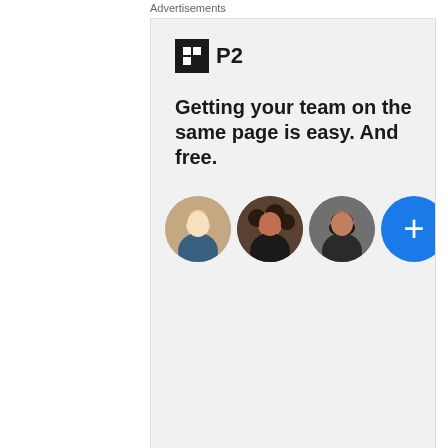Advertisements
[Figure (infographic): P2 advertisement banner. Black square logo with 'P2' text. Headline: 'Getting your team on the same page is easy. And free.' Three circular avatar photos of people plus a blue circle with a plus sign.]
REPORT THIS AD
SEO TOOL #16
Redirect Checker
Find out if your website has www / non www redirection.
Advertisements
[Figure (infographic): Dark navy background banner ad with green italic text 'Launch your online course with WordPress', a circular icon with upload arrow symbol, and white 'Learn More' button with underline.]